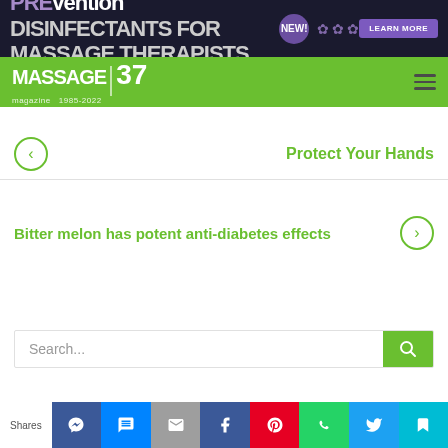[Figure (screenshot): PREvention disinfectants for massage therapists ad banner with NEW! badge and LEARN MORE button]
MASSAGE 37 magazine | 1985-2022
Protect Your Hands
Bitter melon has potent anti-diabetes effects
Search...
Shares